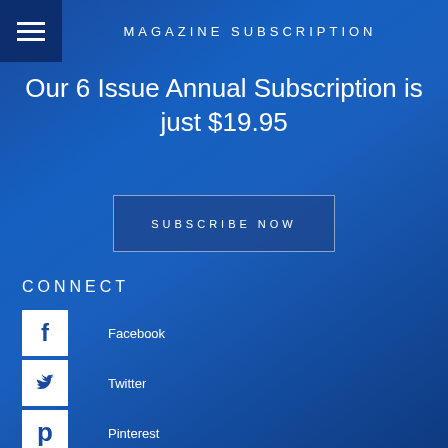MAGAZINE SUBSCRIPTION
Our 6 Issue Annual Subscription is just $19.95
SUBSCRIBE NOW
CONNECT
Facebook
Twitter
Pinterest
Instagram